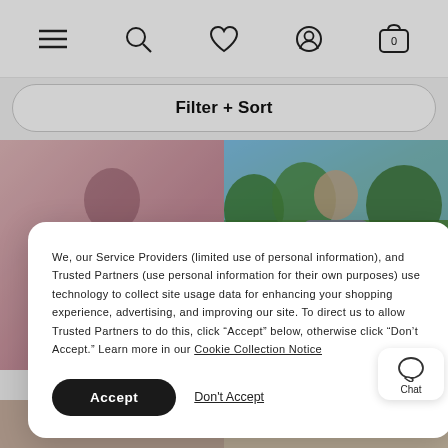Navigation header with hamburger menu, search, heart/wishlist, account, and cart (0) icons
Filter + Sort
[Figure (photo): Two product photos side by side: left shows a person in a pink plaid shirt; right shows a person in a purple shirt outdoors with trees]
We, our Service Providers (limited use of personal information), and Trusted Partners (use personal information for their own purposes) use technology to collect site usage data for enhancing your shopping experience, advertising, and improving our site. To direct us to allow Trusted Partners to do this, click “Accept” below, otherwise click “Don’t Accept.” Learn more in our Cookie Collection Notice
Accept
Don't Accept
[Figure (screenshot): Chat widget button with speech bubble icon and 'Chat' label]
[Figure (photo): Bottom row of product thumbnail images]